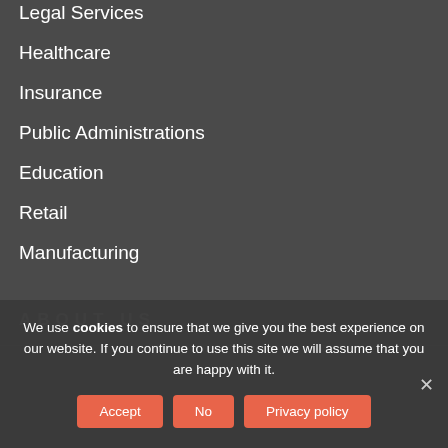Legal Services
Healthcare
Insurance
Public Administrations
Education
Retail
Manufacturing
ABOUT US
We use cookies to ensure that we give you the best experience on our website. If you continue to use this site we will assume that you are happy with it.